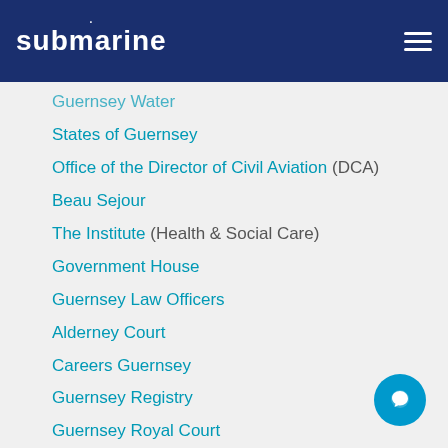submarine
Guernsey Water
States of Guernsey
Office of the Director of Civil Aviation (DCA)
Beau Sejour
The Institute (Health & Social Care)
Government House
Guernsey Law Officers
Alderney Court
Careers Guernsey
Guernsey Registry
Guernsey Royal Court
Guernsey Tickets
Guernsey Museums